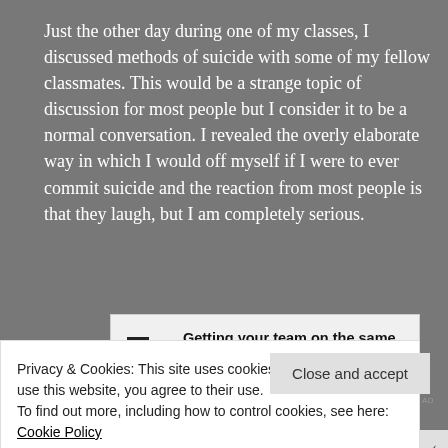Just the other day during one of my classes, I discussed methods of suicide with some of my fellow classmates. This would be a strange topic of discussion for most people but I consider it to be a normal conversation. I revealed the overly elaborate way in which I would off myself if I were to ever commit suicide and the reaction from most people is that they laugh, but I am completely serious.
[Figure (other): Advertisement banner for P2 service: 'Getting your team on the same page is easy. And free.' with P2 logo icon.]
REPORT THIS AD
Privacy & Cookies: This site uses cookies. By continuing to use this website, you agree to their use.
To find out more, including how to control cookies, see here: Cookie Policy
Close and accept
[Figure (other): Bottom advertisement banner with orange background showing text 'email with more privacy.' and a duck icon on the right.]